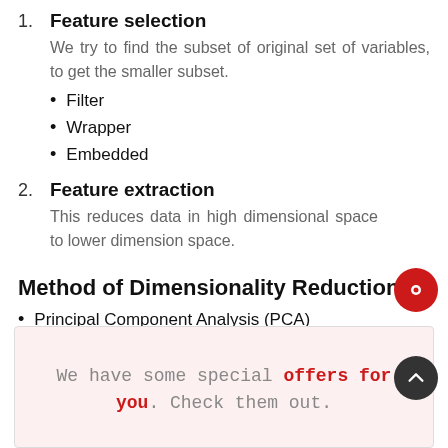1. Feature selection — We try to find the subset of original set of variables, to get the smaller subset.
Filter
Wrapper
Embedded
2. Feature extraction — This reduces data in high dimensional space to lower dimension space.
Method of Dimensionality Reduction
Principal Component Analysis (PCA)
Linear Discriminant Analysis (LDA)
Generalized Discriminant Analysis (GDA)
We have some special offers for you. Check them out.